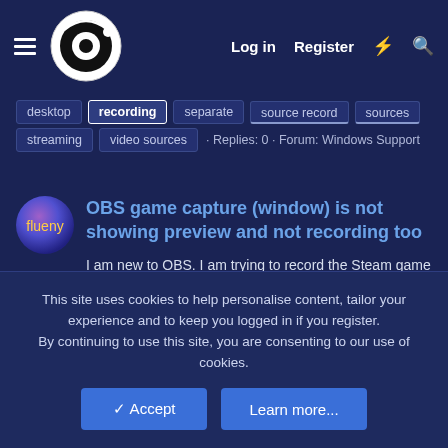Log in  Register
desktop
recording
separate
source record
sources
streaming
video sources
· Replies: 0 · Forum: Windows Support
OBS game capture (window) is not showing preview and not recording too
I am new to OBS. I am trying to record the Steam game Splinter Cell Blacklist using Game capture --> Capture specific window source. I have tried running OBS as administrator, still it is not
This site uses cookies to help personalise content, tailor your experience and to keep you logged in if you register.
By continuing to use this site, you are consenting to our use of cookies.
✓ Accept  Learn more...